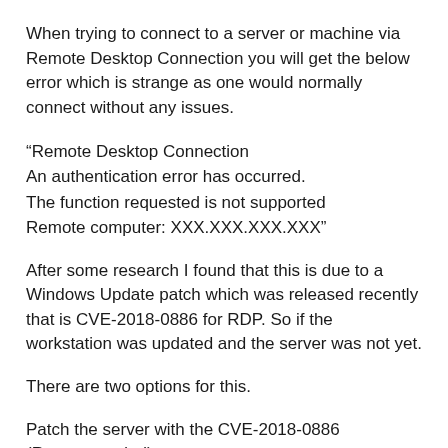When trying to connect to a server or machine via Remote Desktop Connection you will get the below error which is strange as one would normally connect without any issues.
“Remote Desktop Connection
An authentication error has occurred.
The function requested is not supported
Remote computer: XXX.XXX.XXX.XXX”
After some research I found that this is due to a Windows Update patch which was released recently that is CVE-2018-0886 for RDP. So if the workstation was updated and the server was not yet.
There are two options for this.
Patch the server with the CVE-2018-0886 (Recommended)